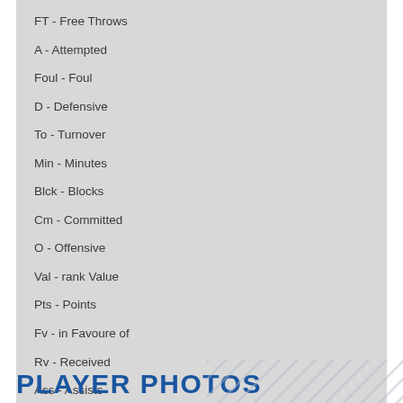FT - Free Throws
A - Attempted
Foul - Foul
D - Defensive
To - Turnover
Min - Minutes
Blck - Blocks
Cm - Committed
O - Offensive
Val - rank Value
Pts - Points
Fv - in Favoure of
Rv - Received
Ass - Assists
PLAYER PHOTOS